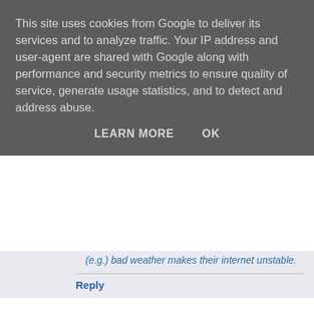This site uses cookies from Google to deliver its services and to analyze traffic. Your IP address and user-agent are shared with Google along with performance and security metrics to ensure quality of service, generate usage statistics, and to detect and address abuse.
LEARN MORE    OK
(e.g.) bad weather makes their internet unstable.
Reply
Alex  Tuesday, 2 August 2016 at 11:56:00 BST
Surely it would be easiest to mandate advertising the range, so e.g. 20-80Mbit/s, as that is then not misleading.
If your estimate shows someone won't get the minimum you've advertised, you can't accept the order, and should someone in reality get below the minimum you'll treat it as a fault (obviously this would need regulatory things to ensure BT also treat it as a fault so it doesn't leave the provider in the lurch).